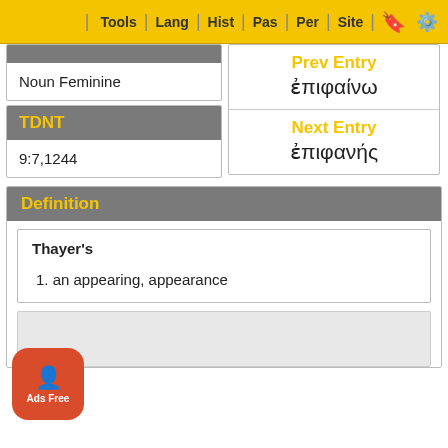Tools | Lang | Hist | Pas | Per | Site
Noun Feminine
TDNT
9:7,1244
Prev Entry
ἐπιφαίνω
Next Entry
ἐπιφανής
Definition
Thayer's
1. an appearing, appearance
Ads Free